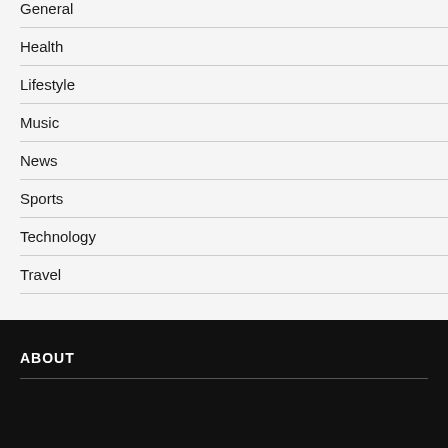General
Health
Lifestyle
Music
News
Sports
Technology
Travel
ABOUT